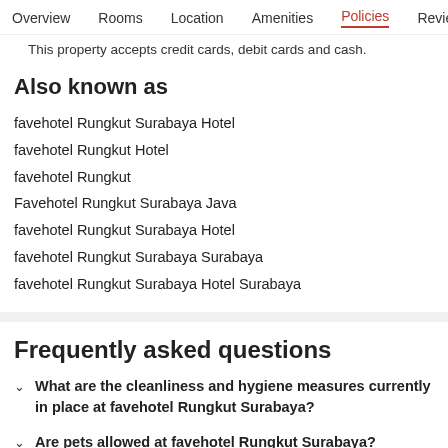Overview  Rooms  Location  Amenities  Policies  Reviews
This property accepts credit cards, debit cards and cash.
Also known as
favehotel Rungkut Surabaya Hotel
favehotel Rungkut Hotel
favehotel Rungkut
Favehotel Rungkut Surabaya Java
favehotel Rungkut Surabaya Hotel
favehotel Rungkut Surabaya Surabaya
favehotel Rungkut Surabaya Hotel Surabaya
Frequently asked questions
What are the cleanliness and hygiene measures currently in place at favehotel Rungkut Surabaya?
Are pets allowed at favehotel Rungkut Surabaya?